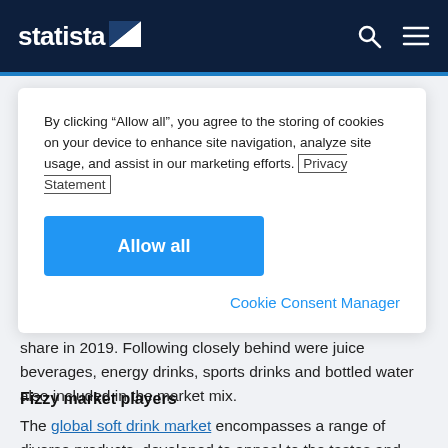statista
By clicking “Allow all”, you agree to the storing of cookies on your device to enhance site navigation, analyze site usage, and assist in our marketing efforts. Privacy Statement
Allow all
Cookie Consent Manager
share in 2019. Following closely behind were juice beverages, energy drinks, sports drinks and bottled water also included in the market mix.
Fizzy market players
The global soft drink market encompasses a range of diverse products, developed to appeal to the tastes and needs of its